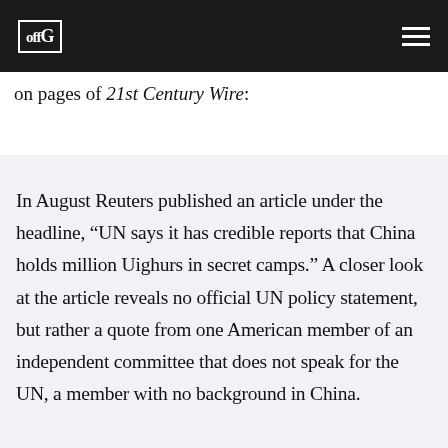offG [logo]
on pages of 21st Century Wire:
In August Reuters published an article under the headline, “UN says it has credible reports that China holds million Uighurs in secret camps.” A closer look at the article reveals no official UN policy statement, but rather a quote from one American member of an independent committee that does not speak for the UN, a member with no background in China.